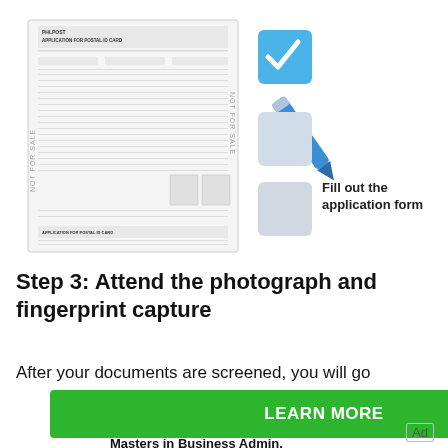[Figure (illustration): Left side: a Philippine postal ID card application form (PHLPOST) with 'NOT FOR SALE' watermarks on the sides. Right side: a blue checkmark icon on a blue checkbox, with a blue pencil/marker, and two unchecked boxes below, with text 'Fill out the application form'.]
Step 3: Attend the photograph and fingerprint capture
After your documents are screened, you will go
[Figure (screenshot): Green 'LEARN MORE' advertisement button with info and close icons, and 'Masters in Business Admin.' subtext below.]
Ad